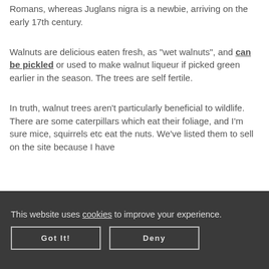Romans, whereas Juglans nigra is a newbie, arriving on the early 17th century.
Walnuts are delicious eaten fresh, as "wet walnuts", and can be pickled or used to make walnut liqueur if picked green earlier in the season. The trees are self fertile.
In truth, walnut trees aren't particularly beneficial to wildlife. There are some caterpillars which eat their foliage, and I'm sure mice, squirrels etc eat the nuts. We've listed them to sell on the site because I have
This website uses cookies to improve your experience.